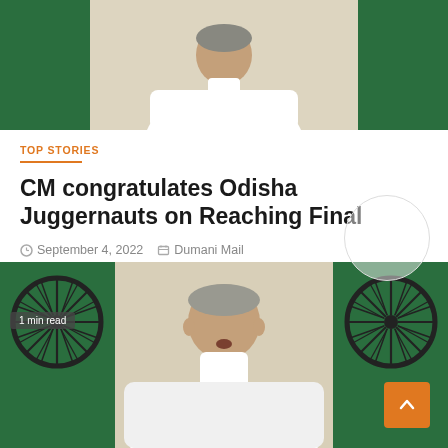[Figure (photo): Top portion of a news article page showing a man in white traditional Indian attire (kurta), seated, with Indian tricolor flags visible on both sides in the background. Image appears cropped at top.]
TOP STORIES
CM congratulates Odisha Juggernauts on Reaching Final
September 4, 2022   Dumani Mail
[Figure (photo): Photo of an elderly Indian man speaking, wearing a white traditional kurta, with Indian national flags (showing the Ashoka Chakra wheel) visible on both left and right sides. A '1 min read' badge is visible in the top-left. A scroll-to-top orange button is in the bottom-right corner.]